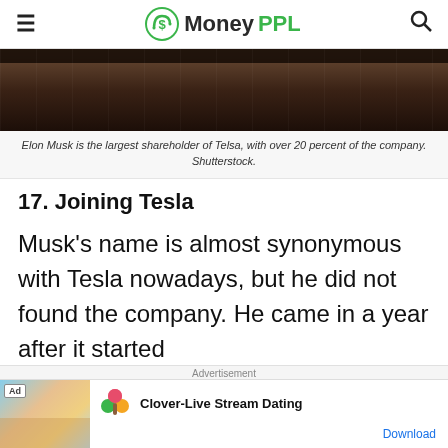MoneyPPL
[Figure (photo): Dark interior photo, appears to be a room with wooden flooring and dark walls/windows]
Elon Musk is the largest shareholder of Telsa, with over 20 percent of the company. Shutterstock.
17. Joining Tesla
Musk's name is almost synonymous with Tesla nowadays, but he did not found the company. He came in a year after it started
Advertisement